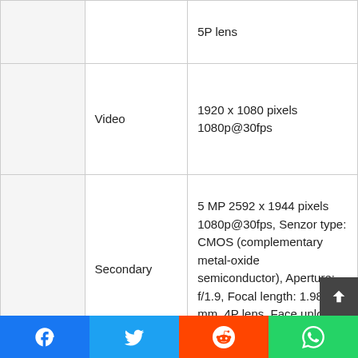|  |  |  |
| --- | --- | --- |
|  |  | 5P lens |
|  | Video | 1920 x 1080 pixels
1080p@30fps |
|  | Secondary | 5 MP 2592 x 1944 pixels 1080p@30fps, Senzor type: CMOS (complementary metal-oxide semiconductor), Aperture: f/1.9, Focal length: 1.98 mm, 4P lens, Face unlock, Exposure compensation |